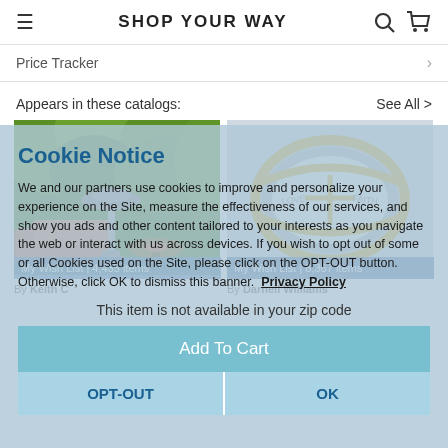SHOP YOUR WAY
Price Tracker
Appears in these catalogs:
See All >
[Figure (photo): Patio heater in an outdoor seating area with green foliage background, labeled 'My Wish List | 4,435 items']
[Figure (photo): Gold and silver ring with cross design, labeled 'My Wish List | 8,367 items']
By Keith C
By Darnell Williams
Cookie Notice
We and our partners use cookies to improve and personalize your experience on the Site, measure the effectiveness of our services, and show you ads and other content tailored to your interests as you navigate the web or interact with us across devices. If you wish to opt out of some or all Cookies used on the Site, please click on the OPT-OUT button. Otherwise, click OK to dismiss this banner.  Privacy Policy
This item is not available in your zip code
Add To Cart
OPT-OUT
OK